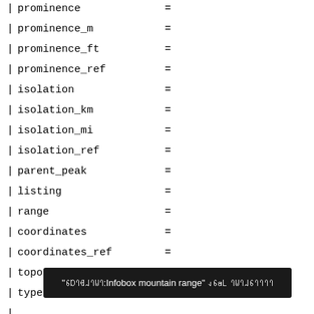| prominence =
| prominence_m =
| prominence_ft =
| prominence_ref =
| isolation =
| isolation_km =
| isolation_mi =
| isolation_ref =
| parent_peak =
| listing =
| range =
| coordinates =
| coordinates_ref =
| topo =
| type =
| (tooltip overlay)
| volcanic_arc =